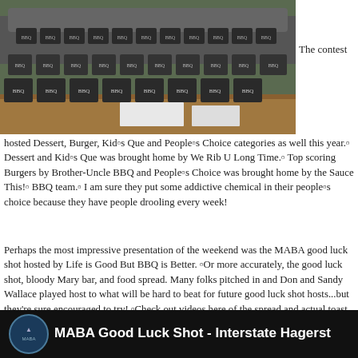[Figure (photo): Multiple dark gray BBQ competition boxes arranged in rows on a wooden table outdoors]
The contest
hosted Dessert, Burger, Kid■s Que and People■s Choice categories as well this year.■ Dessert and Kid■s Que was brought home by We Rib U Long Time.■ Top scoring Burgers by Brother-Uncle BBQ and People■s Choice was brought home by the Sauce This!■ BBQ team.■ I am sure they put some addictive chemical in their people■s choice because they have people drooling every week!
Perhaps the most impressive presentation of the weekend was the MABA good luck shot hosted by Life is Good But BBQ is Better. ■Or more accurately, the good luck shot, bloody Mary bar, and food spread. Many folks pitched in and Don and Sandy Wallace played host to what will be hard to beat for future good luck shot hosts...but they’re sure encouraged to try! ■Check out videos here of the spread and actual toast given by LIGBBIB pitmaster Don Wallace!
[Figure (screenshot): Video thumbnail showing MABA Good Luck Shot - Interstate Hagerst... with circular logo on dark background]